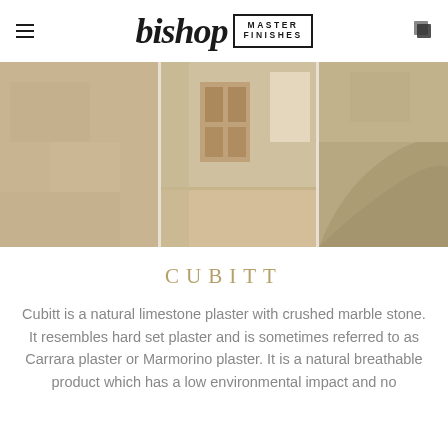bishop MASTER FINISHES
[Figure (photo): Three-panel collage of natural limestone plaster interiors: left panel shows close-up texture of warm beige plaster wall, center panel shows an arched hallway with wooden door and plaster walls, right panel shows curved plaster architectural detail in warm sandy tones.]
CUBITT
Cubitt is a natural limestone plaster with crushed marble stone. It resembles hard set plaster and is sometimes referred to as Carrara plaster or Marmorino plaster. It is a natural breathable product which has a low environmental impact and no